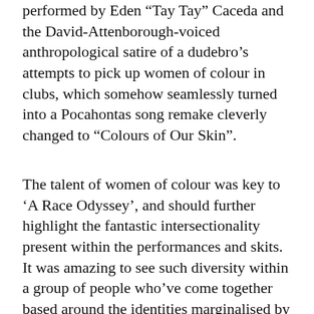performed by Eden “Tay Tay” Caceda and the David-Attenborough-voiced anthropological satire of a dudebro’s attempts to pick up women of colour in clubs, which somehow seamlessly turned into a Pocahontas song remake cleverly changed to “Colours of Our Skin”.
The talent of women of colour was key to ‘A Race Odyssey’, and should further highlight the fantastic intersectionality present within the performances and skits. It was amazing to see such diversity within a group of people who’ve come together based around the identities marginalised by racism. It was personally heartwarming to see trans people of colour given trans-specific skits to be proud and open about their identity in full. What I did find dubious was the use of the trope “man in a